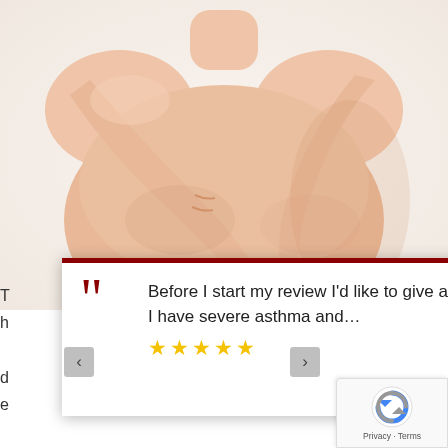[Figure (photo): Photo of a woman's torso with arms crossed over chest, on white background — used for a cosmetic/medical surgery page]
Before I start my review I'd like to give a background of my health history. I have severe asthma and...
★★★★★
Lisa
view post
celift? If your
t quite
e some